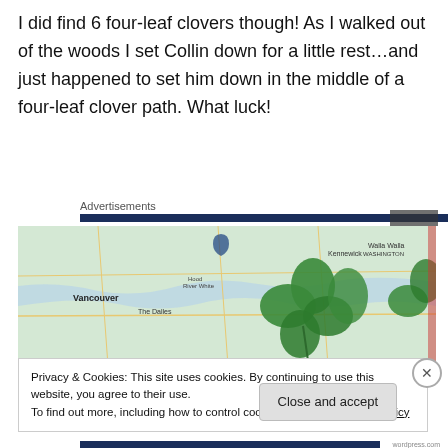I did find 6 four-leaf clovers though! As I walked out of the woods I set Collin down for a little rest…and just happened to set him down in the middle of a four-leaf clover path. What luck!
Advertisements
[Figure (photo): A photograph showing a road map with four-leaf clovers placed on top, Vancouver area visible on the map]
Privacy & Cookies: This site uses cookies. By continuing to use this website, you agree to their use.
To find out more, including how to control cookies, see here: Cookie Policy
Close and accept